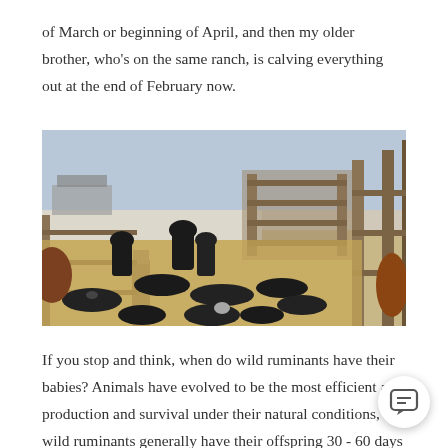of March or beginning of April, and then my older brother, who's on the same ranch, is calving everything out at the end of February now.
[Figure (photo): A cattle ranch pen in winter with many black and brown cattle and calves lying and standing on straw-covered ground, surrounded by wooden fences and gates, snow visible in the background.]
If you stop and think, when do wild ruminants have their babies? Animals have evolved to be the most efficient at production and survival under their natural conditions, and wild ruminants generally have their offspring 30 - 60 days